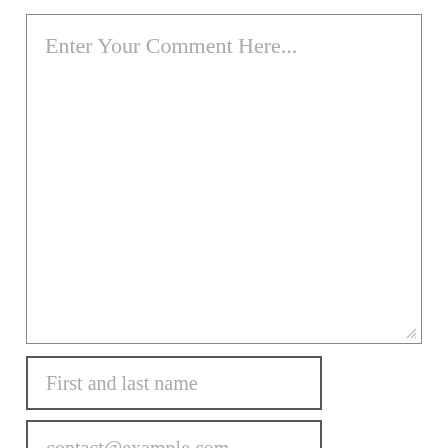Enter Your Comment Here...
First and last name
contact@example.com